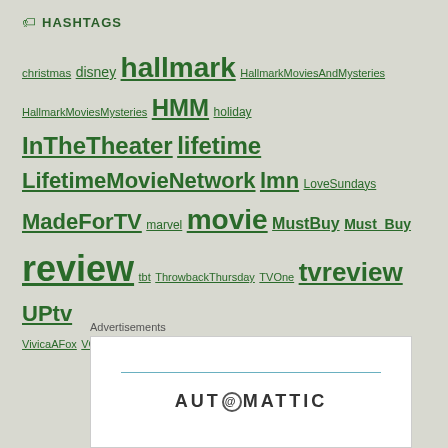HASHTAGS
christmas disney hallmark HallmarkMoviesAndMysteries HallmarkMoviesMysteries HMM holiday InTheTheater lifetime LifetimeMovieNetwork lmn LoveSundays MadeForTV marvel movie MustBuy Must_Buy review tbt ThrowbackThursday TVOne tvreview UPtv VivicaAFox VOD
Advertisements
[Figure (logo): Automattic logo with stylized @ symbol]